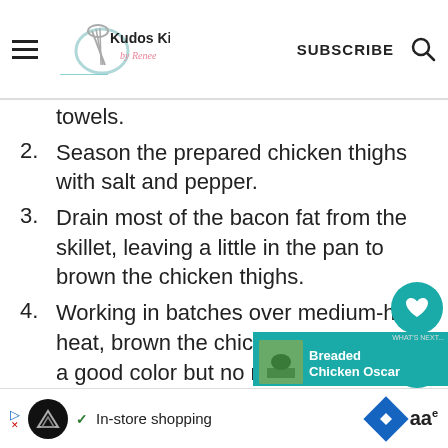Kudos Kitchen by Renee — SUBSCRIBE
towels.
2. Season the prepared chicken thighs with salt and pepper.
3. Drain most of the bacon fat from the skillet, leaving a little in the pan to brown the chicken thighs.
4. Working in batches over medium-high heat, brown the chicken thighs to get a good color but no need to cook thoroughly.
5. Add all the browned chicken back into
In-store shopping [advertisement]